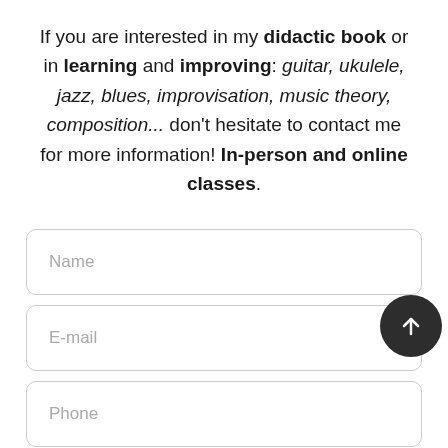If you are interested in my didactic book or in learning and improving: guitar, ukulele, jazz, blues, improvisation, music theory, composition... don't hesitate to contact me for more information! In-person and online classes.
[Figure (other): A contact form with three input fields labeled Name, E-mail, and Phone, with a circular dark up-arrow button overlapping the E-mail field on the right side.]